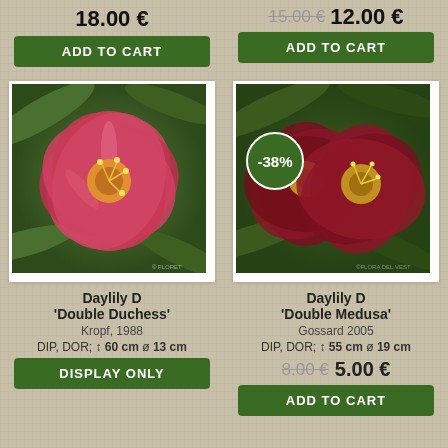18.00 €
15.00 € 12.00 €
ADD TO CART
ADD TO CART
[Figure (photo): Pink daylily flower with yellow center, green foliage background]
[Figure (photo): Dark red/burgundy daylily flowers with yellow center, with -38% discount badge overlay]
Daylily D
'Double Duchess'
Kropf, 1988
DIP, DOR; ↕ 60 cm  ø 13 cm
DISPLAY ONLY
Daylily D
'Double Medusa'
Gossard 2005
DIP, DOR; ↕ 55 cm  ø 19 cm
8.00 € 5.00 €
ADD TO CART